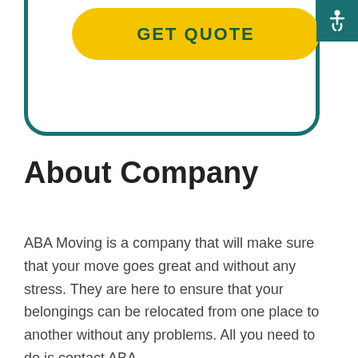[Figure (screenshot): A form card with a teal border, containing a ZIP input field and a yellow rounded GET QUOTE button. An accessibility icon in the top-right corner.]
About Company
ABA Moving is a company that will make sure that your move goes great and without any stress. They are here to ensure that your belongings can be relocated from one place to another without any problems. All you need to do is contact ABA